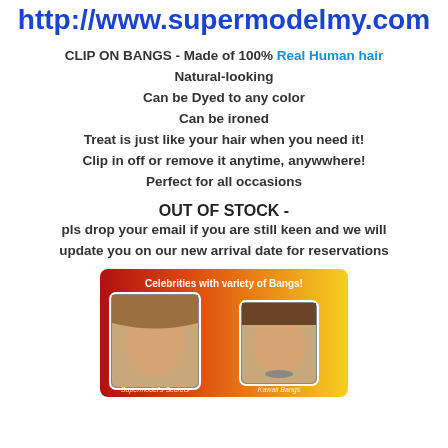http://www.supermodelmy.com
CLIP ON BANGS - Made of 100% Real Human hair
Natural-looking
Can be Dyed to any color
Can be ironed
Treat is just like your hair when you need it!
Clip in off or remove it anytime, anywwhere!
Perfect for all occasions
OUT OF STOCK -
pls drop your email if you are still keen and we will update you on our new arrival date for reservations
[Figure (photo): Banner image showing 'Celebrities with variety of Bangs!' with two photos of young girls/celebrities with different bang hairstyles, gradient background from red/orange to yellow, with text 'Supermodel's Secrets' and 'Kawaii Bangs']